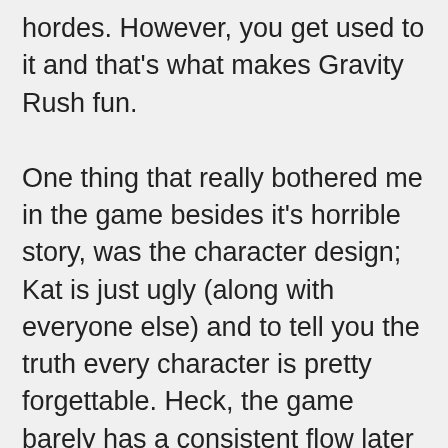hordes. However, you get used to it and that's what makes Gravity Rush fun.
One thing that really bothered me in the game besides it's horrible story, was the character design; Kat is just ugly (along with everyone else) and to tell you the truth every character is pretty forgettable. Heck, the game barely has a consistent flow later on, that you are just playing hoping to get answers that are, eventually, never answered! One feature, which I thought was fantastic was the small "cinematic" comic strip parts, explaining events. The comics looked great and best part allowed for gyroscope and in a sense a stereoscopic view, so you could enjoy